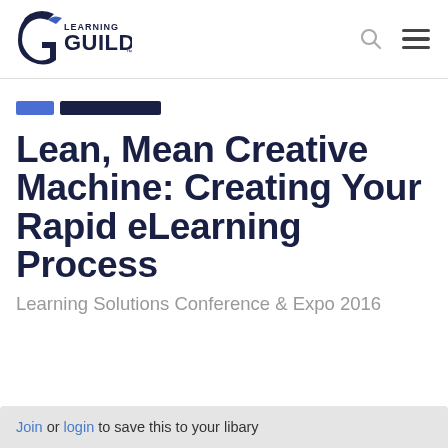[Figure (logo): Learning Guild logo — stylized G with blue and dark navy colors, with 'LEARNING GUILD' text]
Lean, Mean Creative Machine: Creating Your Rapid eLearning Process
Learning Solutions Conference & Expo 2016
Join or login to save this to your libary